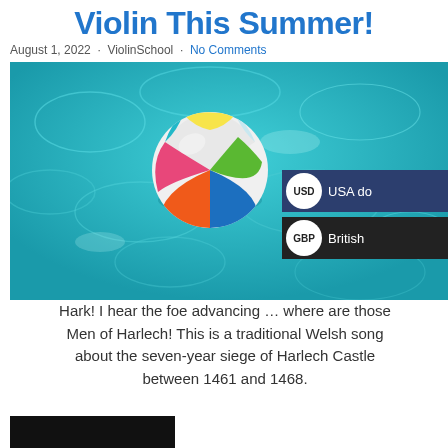Violin This Summer!
August 1, 2022 · ViolinSchool · No Comments
[Figure (photo): A colorful beach ball floating in a turquoise swimming pool, with overlaid currency selector showing USD and GBP options.]
Hark! I hear the foe advancing … where are those Men of Harlech! This is a traditional Welsh song about the seven-year siege of Harlech Castle between 1461 and 1468.